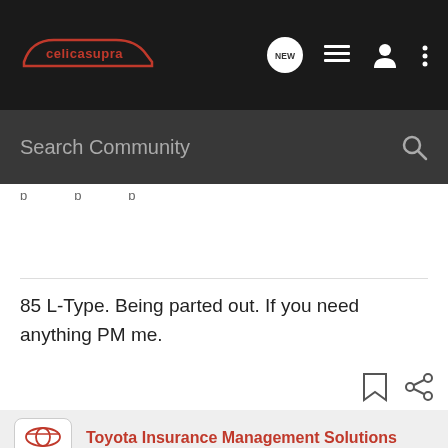[Figure (logo): celicasupra logo in red on dark navigation bar with car silhouette outline]
[Figure (screenshot): Search bar with text 'Search Community' on dark background with magnifier icon]
85 L-Type. Being parted out. If you need anything PM me.
[Figure (logo): Toyota Insurance Management Solutions ad logo]
Toyota Insurance Management Solutions
Ad
Bundle and save with Toyota Insurance.
Our online platform makes customizing your policy quick and